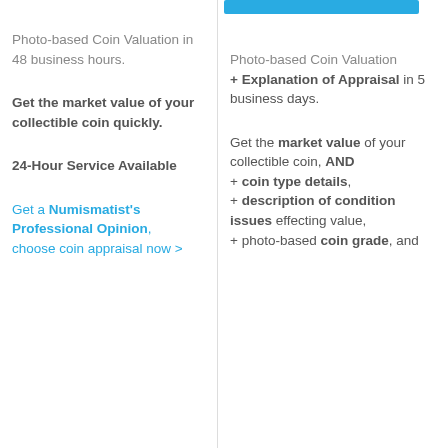Photo-based Coin Valuation in 48 business hours.
Get the market value of your collectible coin quickly.
24-Hour Service Available
Get a Numismatist's Professional Opinion, choose coin appraisal now >
Photo-based Coin Valuation + Explanation of Appraisal in 5 business days.
Get the market value of your collectible coin, AND + coin type details, + description of condition issues effecting value, + photo-based coin grade, and